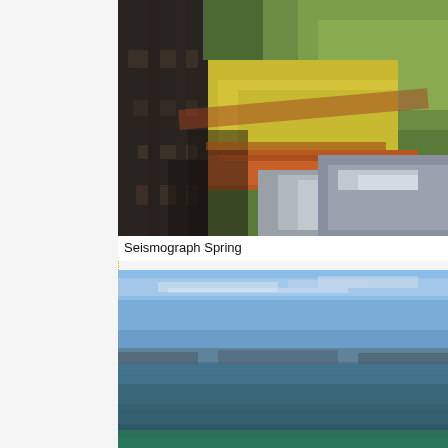[Figure (photo): Close-up photo of Seismograph Spring showing colorful mineral deposits with yellow, orange, green, and gray colors along the edges of the spring, with wooden boardwalk railings visible on the left side.]
Seismograph Spring
[Figure (photo): Wide landscape photo of a large lake (Yellowstone Lake) with calm blue-green water in the foreground, distant mountains on the horizon, and a partly cloudy blue sky above.]